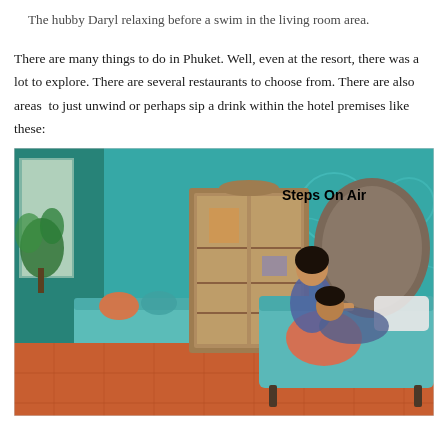The hubby Daryl relaxing before a swim in the living room area.
There are many things to do in Phuket. Well, even at the resort, there was a lot to explore. There are several restaurants to choose from. There are also areas  to just unwind or perhaps sip a drink within the hotel premises like these:
[Figure (photo): A couple relaxing on a teal/turquoise daybed in a resort living room area with teal patterned walls, a wooden cabinet, and terracotta tile floor. The woman is seated upright while the man reclines. A 'Steps On Air' watermark appears in the upper right.]